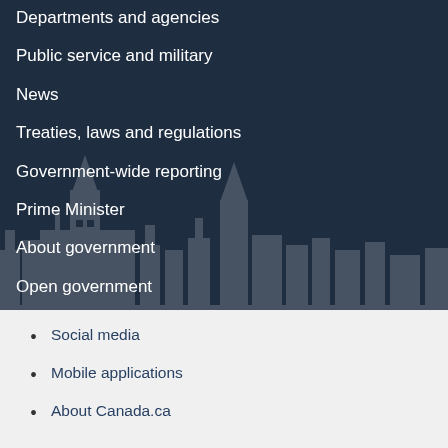Departments and agencies
Public service and military
News
Treaties, laws and regulations
Government-wide reporting
Prime Minister
About government
Open government
Social media
Mobile applications
About Canada.ca